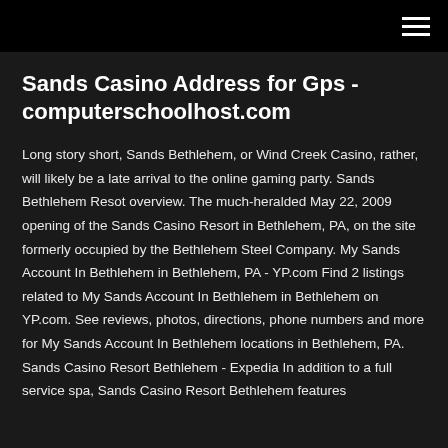[hamburger menu icon]
Sands Casino Address for Gps - computerschoolhost.com
Long story short, Sands Bethlehem, or Wind Creek Casino, rather, will likely be a late arrival to the online gaming party. Sands Bethlehem Resot overview. The much-heralded May 22, 2009 opening of the Sands Casino Resort in Bethlehem, PA, on the site formerly occupied by the Bethlehem Steel Company. My Sands Account In Bethlehem in Bethlehem, PA - YP.com Find 2 listings related to My Sands Account In Bethlehem in Bethlehem on YP.com. See reviews, photos, directions, phone numbers and more for My Sands Account In Bethlehem locations in Bethlehem, PA. Sands Casino Resort Bethlehem - Expedia In addition to a full service spa, Sands Casino Resort Bethlehem features